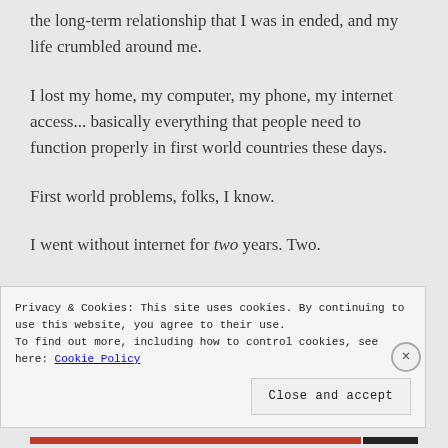the long-term relationship that I was in ended, and my life crumbled around me.
I lost my home, my computer, my phone, my internet access... basically everything that people need to function properly in first world countries these days.
First world problems, folks, I know.
I went without internet for two years. Two.
Privacy & Cookies: This site uses cookies. By continuing to use this website, you agree to their use.
To find out more, including how to control cookies, see here: Cookie Policy
Close and accept